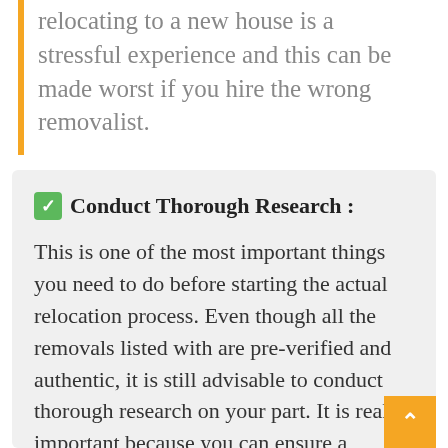relocating to a new house is a stressful experience and this can be made worst if you hire the wrong removalist.
✅ Conduct Thorough Research :
This is one of the most important things you need to do before starting the actual relocation process. Even though all the removals listed with are pre-verified and authentic, it is still advisable to conduct thorough research on your part. It is really important because you can ensure a seamless and hassle-free move only if the removal company is genuine